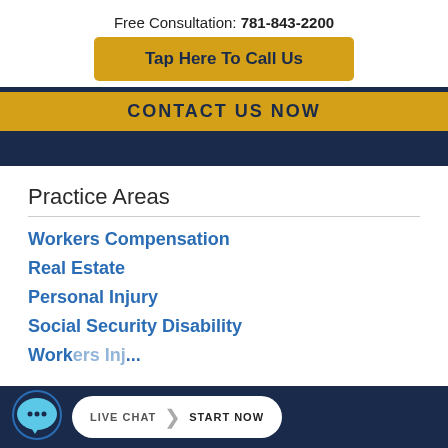Free Consultation: 781-843-2200
Tap Here To Call Us
CONTACT US NOW
Practice Areas
Workers Compensation
Real Estate
Personal Injury
Social Security Disability
Workers Injury
LIVE CHAT   START NOW